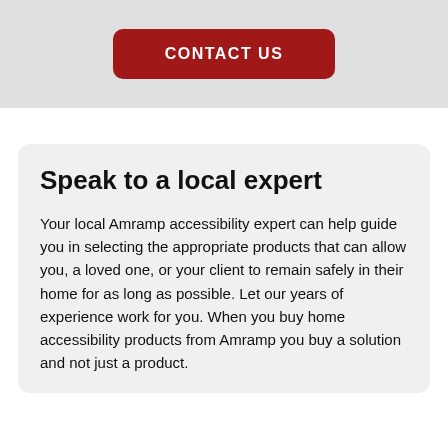[Figure (other): Red rounded rectangle button with white text reading CONTACT US on a light grey background]
Speak to a local expert
Your local Amramp accessibility expert can help guide you in selecting the appropriate products that can allow you, a loved one, or your client to remain safely in their home for as long as possible. Let our years of experience work for you. When you buy home accessibility products from Amramp you buy a solution and not just a product.